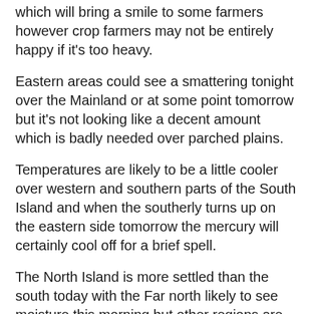which will bring a smile to some farmers however crop farmers may not be entirely happy if it's too heavy.
Eastern areas could see a smattering tonight over the Mainland or at some point tomorrow but it's not looking like a decent amount which is badly needed over parched plains.
Temperatures are likely to be a little cooler over western and southern parts of the South Island and when the southerly turns up on the eastern side tomorrow the mercury will certainly cool off for a brief spell.
The North Island is more settled than the south today with the Far north likely to see moisture this morning but other regions are dry with plenty of sunshine expected along with a few clouds rolling